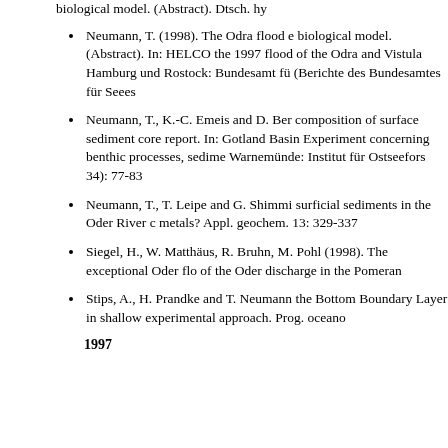biological model. (Abstract). Dtsch. hy
Neumann, T. (1998). The Odra flood e biological model. (Abstract). In: HELCO the 1997 flood of the Odra and Vistula Hamburg und Rostock: Bundesamt für (Berichte des Bundesamtes für Seees
Neumann, T., K.-C. Emeis and D. Ber composition of surface sediment core report. In: Gotland Basin Experiment concerning benthic processes, sedime Warnemünde: Institut für Ostseeforsc 34): 77-83
Neumann, T., T. Leipe and G. Shimmi surficial sediments in the Oder River c metals? Appl. geochem. 13: 329-337
Siegel, H., W. Matthäus, R. Bruhn, M. Pohl (1998). The exceptional Oder flo of the Oder discharge in the Pomeran
Stips, A., H. Prandke and T. Neumann the Bottom Boundary Layer in shallow experimental approach. Prog. oceano
1997